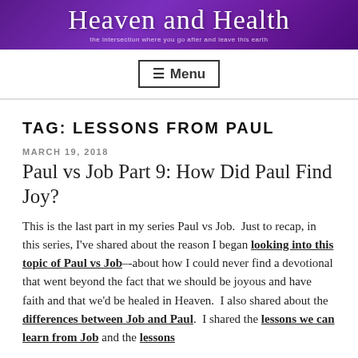[Figure (illustration): Heaven and Health blog header banner with cursive text on purple/violet gradient background]
☰ Menu
TAG: LESSONS FROM PAUL
MARCH 19, 2018
Paul vs Job Part 9: How Did Paul Find Joy?
This is the last part in my series Paul vs Job.  Just to recap, in this series, I've shared about the reason I began looking into this topic of Paul vs Job–-about how I could never find a devotional that went beyond the fact that we should be joyous and have faith and that we'd be healed in Heaven.  I also shared about the differences between Job and Paul.  I shared the lessons we can learn from Job and the lessons